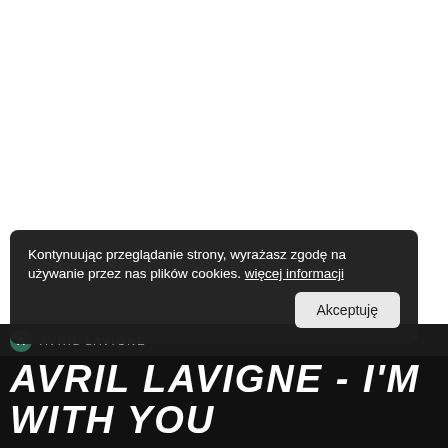[Figure (photo): White/blank upper portion of a webpage, mostly empty white space]
AVRIL LAVIGNE (small artist label with icon)
Kontynuując przeglądanie strony, wyrażasz zgodę na używanie przez nas plików cookies. więcej informacji
Akceptuję
AVRIL LAVIGNE - I'M WITH YOU